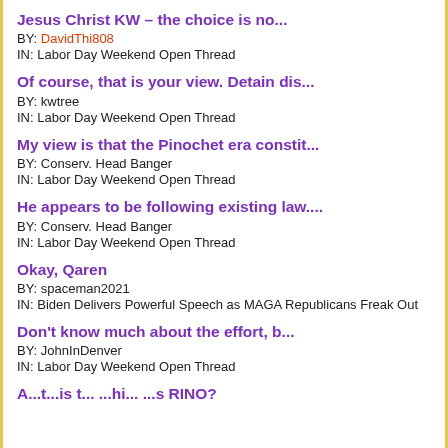Jesus Christ KW – the choice is no...
BY: DavidThi808
IN: Labor Day Weekend Open Thread
Of course, that is your view. Detain dis...
BY: kwtree
IN: Labor Day Weekend Open Thread
My view is that the Pinochet era constit...
BY: Conserv. Head Banger
IN: Labor Day Weekend Open Thread
He appears to be following existing law....
BY: Conserv. Head Banger
IN: Labor Day Weekend Open Thread
Okay, Qaren
BY: spaceman2021
IN: Biden Delivers Powerful Speech as MAGA Republicans Freak Out
Don't know much about the effort, b...
BY: JohnInDenver
IN: Labor Day Weekend Open Thread
Are t...is t... ...hi... ...s RINO?